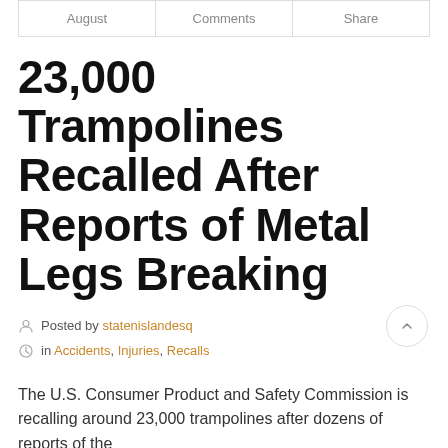August | Comments | Share
23,000 Trampolines Recalled After Reports of Metal Legs Breaking
Posted by statenislandesq
in Accidents, Injuries, Recalls
The U.S. Consumer Product and Safety Commission is recalling around 23,000 trampolines after dozens of reports of the